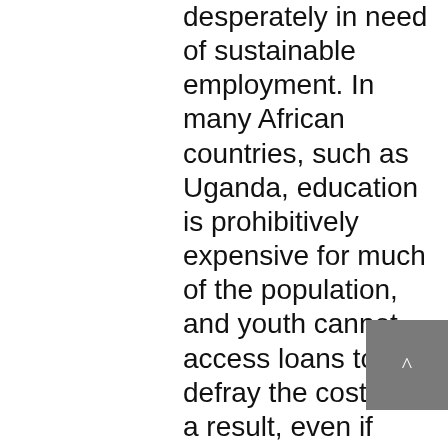desperately in need of sustainable employment. In many African countries, such as Uganda, education is prohibitively expensive for much of the population, and youth cannot access loans to defray the costs. As a result, even if jobs appear through impact sourcing employment creation, many prospective applicants would find themselves under-prepared to fill the positions.

So what can be done? Reeve believes in grassroots capacity-building, which is why we are